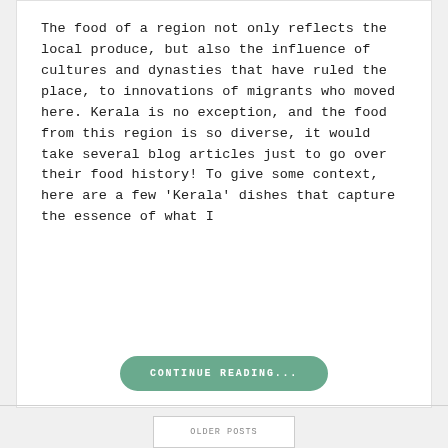The food of a region not only reflects the local produce, but also the influence of cultures and dynasties that have ruled the place, to innovations of migrants who moved here. Kerala is no exception, and the food from this region is so diverse, it would take several blog articles just to go over their food history! To give some context, here are a few ‘Kerala’ dishes that capture the essence of what I
CONTINUE READING...
OLDER POSTS